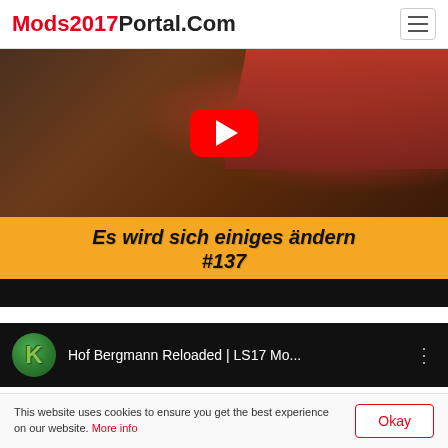Mods2017Portal.Com
[Figure (screenshot): YouTube video thumbnail showing farm machinery with red tines/cultivator attachment and red tractor. Orange banner overlay reads 'Es wird sich einiges ändern #137'. Black bottom bar. YouTube play button visible in center.]
Es wird sich einiges ändern #137
[Figure (screenshot): YouTube video info bar showing green channel icon with letter K, video title 'Hof Bergmann Reloaded | LS17 Mo...' on dark background with three-dot menu icon.]
This website uses cookies to ensure you get the best experience on our website. More info